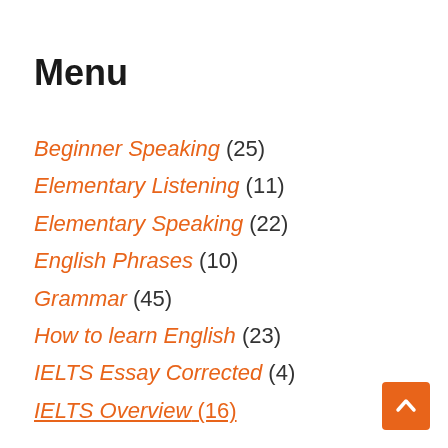Menu
Beginner Speaking (25)
Elementary Listening (11)
Elementary Speaking (22)
English Phrases (10)
Grammar (45)
How to learn English (23)
IELTS Essay Corrected (4)
IELTS Overview (16)